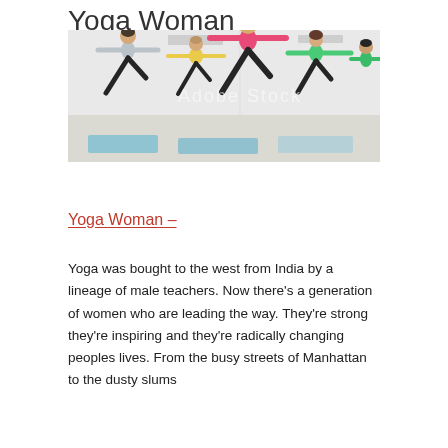Yoga Woman
[Figure (photo): Group of women performing warrior yoga pose in a bright studio, arms extended sideways, wearing colorful athletic wear on blue yoga mats. Central figure wears pink top and black leggings. Adobe Stock watermark visible.]
Yoga Woman –
Yoga was bought to the west from India by a lineage of male teachers. Now there's a generation of women who are leading the way. They're strong they're inspiring and they're radically changing peoples lives. From the busy streets of Manhattan to the dusty slums